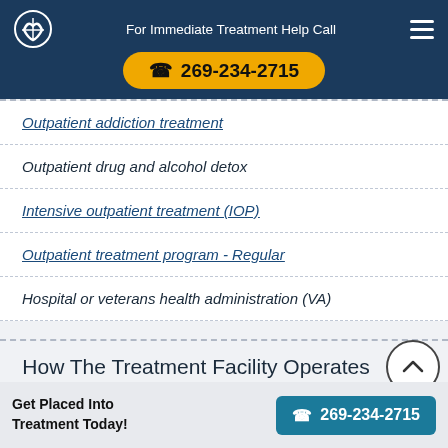For Immediate Treatment Help Call 269-234-2715
Outpatient addiction treatment
Outpatient drug and alcohol detox
Intensive outpatient treatment (IOP)
Outpatient treatment program - Regular
Hospital or veterans health administration (VA)
How The Treatment Facility Operates
Get Placed Into Treatment Today! 269-234-2715